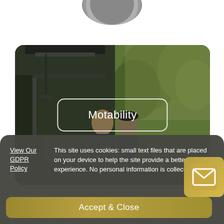[Figure (photo): Partially cropped dark gray circular shape at the top center of the page]
[Figure (photo): A photo of two people near an open car boot/trunk in a green outdoor setting, with a rounded rectangle overlay button labeled 'Motability']
Motability
View Our GDPR Policy
This site uses cookies: small text files that are placed on your device to help the site provide a better experience. No personal information is collected.
Accept & Close